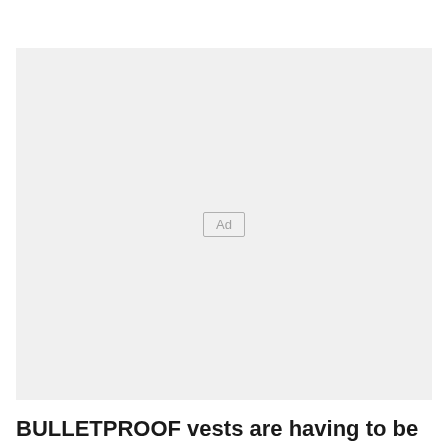[Figure (other): Advertisement placeholder box with light gray background and 'Ad' label in center]
BULLETPROOF vests are having to be